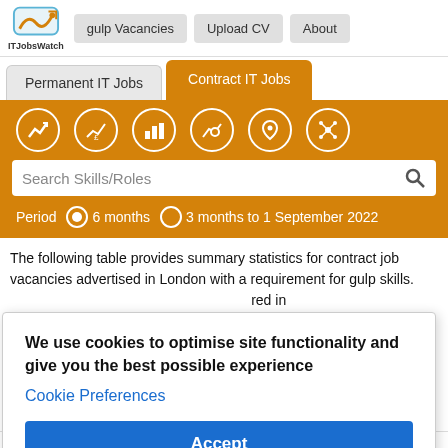ITJobsWatch | gulp Vacancies | Upload CV | About
Permanent IT Jobs  Contract IT Jobs
[Figure (screenshot): Orange navigation bar with six circular white icons for different data views, a search box labeled 'Search Skills/Roles', and period selector showing '6 months' (selected) and '3 months to 1 September 2022']
The following table provides summary statistics for contract job vacancies advertised in London with a requirement for gulp skills. ...red in ...mber ...years. ...se ...rates are
We use cookies to optimise site functionality and give you the best possible experience
Cookie Preferences
Accept
6 months to    Same    Same